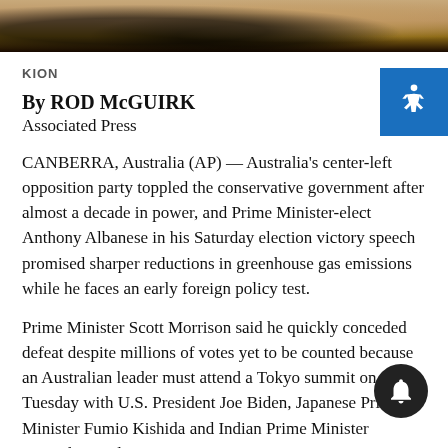[Figure (photo): Cropped photo showing sandy/earthy tones with dark area, likely a landscape or ground surface]
KION
By ROD McGUIRK
Associated Press
CANBERRA, Australia (AP) — Australia's center-left opposition party toppled the conservative government after almost a decade in power, and Prime Minister-elect Anthony Albanese in his Saturday election victory speech promised sharper reductions in greenhouse gas emissions while he faces an early foreign policy test.
Prime Minister Scott Morrison said he quickly conceded defeat despite millions of votes yet to be counted because an Australian leader must attend a Tokyo summit on Tuesday with U.S. President Joe Biden, Japanese Prime Minister Fumio Kishida and Indian Prime Minister Narendra Modi.
Albanese, who has described himself as the only candidate